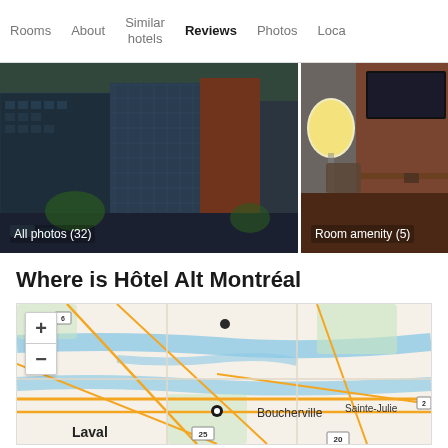Rooms | About | Similar hotels | Reviews | Photos | Loca...
[Figure (photo): Hotel exterior building photo showing modern glass and brick high-rise buildings from aerial view with caption 'All photos (32)']
[Figure (photo): Hotel room interior photo showing lamp, TV mounted on wall, and desk chair with caption 'Room amenity (5)']
Where is Hôtel Alt Montréal
[Figure (map): Map showing Montreal area including Laval, Boucherville, Sainte-Julie labels and route markers 25, 20, with zoom controls (+/-) and a location pin marker]